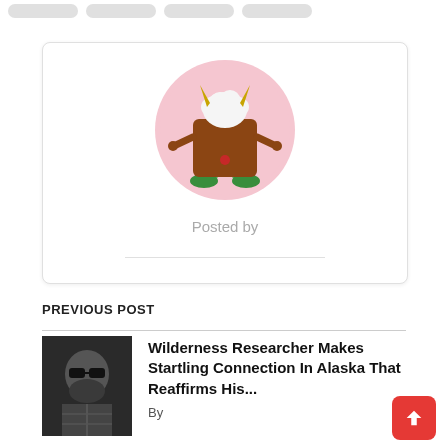[Figure (illustration): Cartoon monster illustration inside a pink circle — brown square-bodied creature with yellow horns, white fluffy top, green legs/feet, small arms outstretched]
Posted by
PREVIOUS POST
[Figure (photo): Black and white photo of a bearded man wearing sunglasses and a plaid shirt]
Wilderness Researcher Makes Startling Connection In Alaska That Reaffirms His...
By